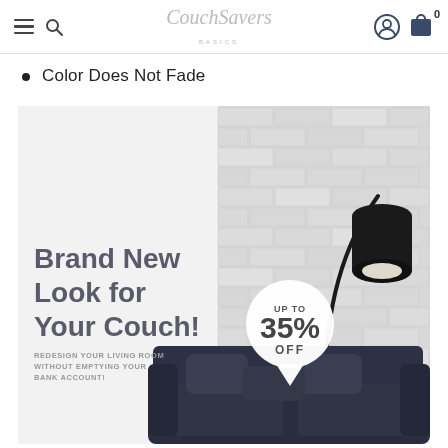CouchSavers
Color Does Not Fade
[Figure (illustration): Promotional banner for CouchSavers showing a dark navy couch with a black arc floor lamp against a white brick wall background. Text overlay reads 'Brand New Look for Your Couch!' with subtext 'Redesign your living room without emptying your bank account!' and a discount badge showing 'Up to 35% OFF'.]